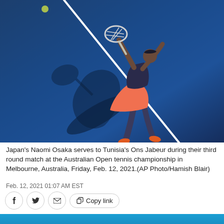[Figure (photo): Aerial/overhead view of a tennis player (Naomi Osaka) in an orange skirt and dark top, mid-serve on a blue hard court with a white service line visible. A shadow of the player and racket is cast on the court.]
Japan's Naomi Osaka serves to Tunisia's Ons Jabeur during their third round match at the Australian Open tennis championship in Melbourne, Australia, Friday, Feb. 12, 2021.(AP Photo/Hamish Blair)
Feb. 12, 2021 01:07 AM EST
[Figure (photo): Bottom portion of another photo showing a blue court background, partially visible.]